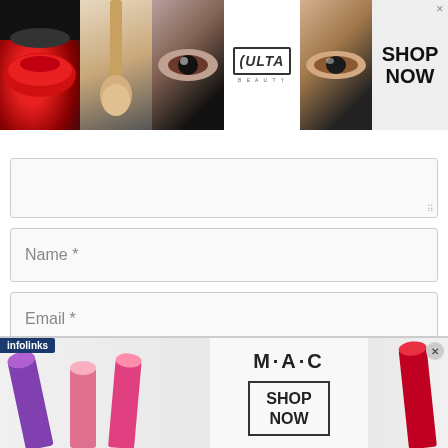[Figure (screenshot): Ulta Beauty advertisement banner with makeup images (lips, brush, eyes) and 'SHOP NOW' call to action with infolinks badge]
[Figure (screenshot): Web form fields: empty textarea, Name * input, Email * input]
Save my name, email, and website in this browser for the next time I
[Figure (screenshot): MAC Cosmetics advertisement banner with lipsticks and 'SHOP NOW' button, infolinks label at bottom left, close X button]